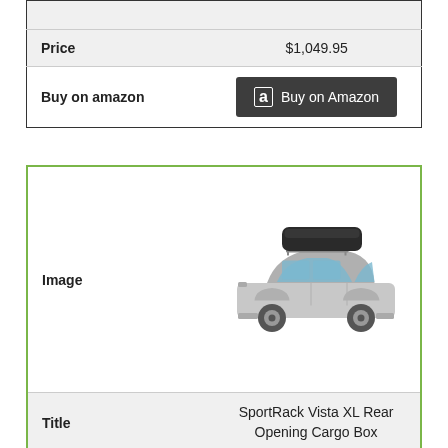|  |  |
| --- | --- |
| Price | $1,049.95 |
| Buy on amazon | Buy on Amazon |
|  |  |
| --- | --- |
| Image | [photo of car with cargo box on roof] |
| Title | SportRack Vista XL Rear Opening Cargo Box |
| Volume | 18 cu ft |